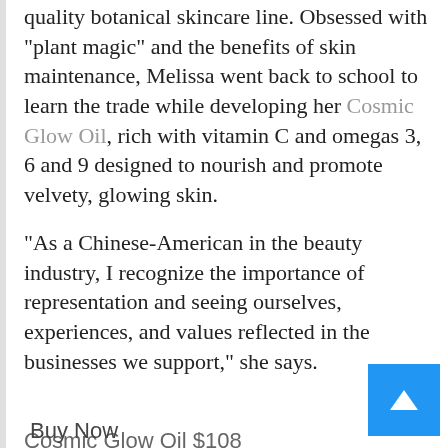quality botanical skincare line. Obsessed with “plant magic” and the benefits of skin maintenance, Melissa went back to school to learn the trade while developing her Cosmic Glow Oil, rich with vitamin C and omegas 3, 6 and 9 designed to nourish and promote velvety, glowing skin.
“As a Chinese-American in the beauty industry, I recognize the importance of representation and seeing ourselves, experiences, and values reflected in the businesses we support,” she says.
Cosmic Glow Oil $108
Buy Now